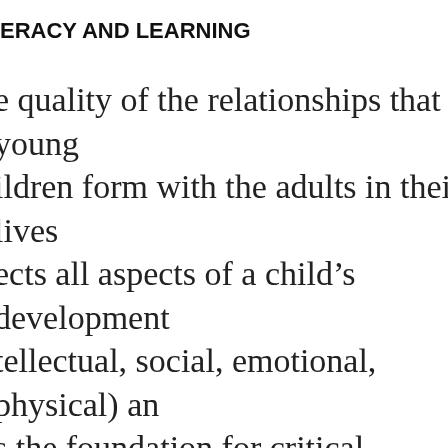ERACY AND LEARNING
e quality of the relationships that young children form with the adults in their lives ects all aspects of a child's development (intellectual, social, emotional, physical) and s the foundation for critical developmental outcomes, including healthy mental development, conflict resolution, self-confidence, self-regulation and motivation to learn. A major ingredient in this developmental process is the serve and return relationship between infants and their parents and other caregivers. With serve an